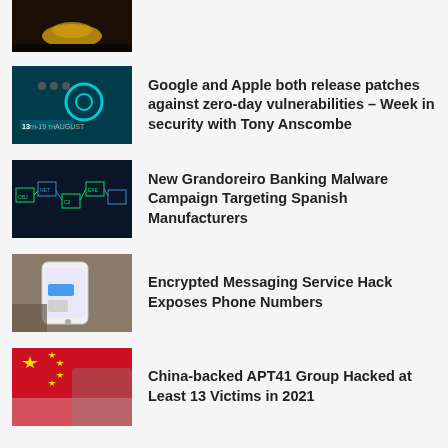[Figure (photo): Partial thumbnail at top, dark brown background with gold object]
Google and Apple both release patches against zero-day vulnerabilities – Week in security with Tony Anscombe
New Grandoreiro Banking Malware Campaign Targeting Spanish Manufacturers
Encrypted Messaging Service Hack Exposes Phone Numbers
China-backed APT41 Group Hacked at Least 13 Victims in 2021